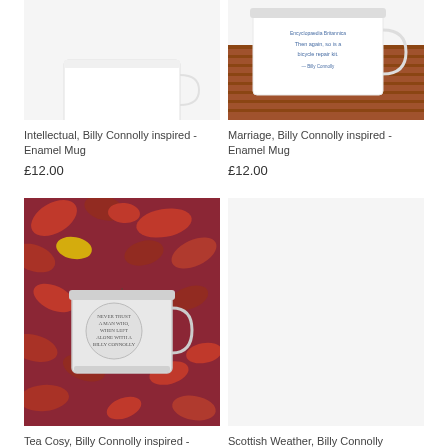[Figure (photo): Partially visible white enamel mug (Intellectual, Billy Connolly inspired) on white background, image cropped at top]
[Figure (photo): White enamel mug with blue text sitting on stacked wooden boards, image cropped at top. Mug reads 'Then again, so is a bicycle repair kit - Billy Connolly']
Intellectual, Billy Connolly inspired - Enamel Mug
£12.00
Marriage, Billy Connolly inspired - Enamel Mug
£12.00
[Figure (photo): Enamel mug with circular stamp text sitting on a bed of red and orange autumn maple leaves]
[Figure (photo): Blank light grey placeholder for Scottish Weather, Billy Connolly inspired product image]
Tea Cosy, Billy Connolly inspired -
Scottish Weather, Billy Connolly